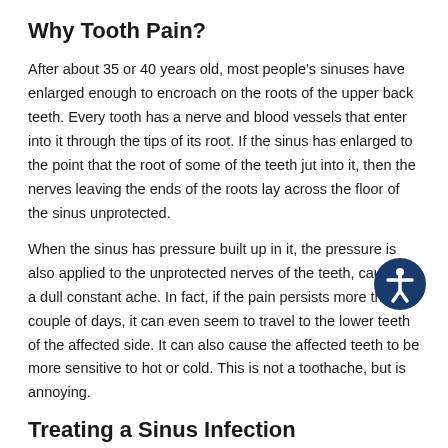Why Tooth Pain?
After about 35 or 40 years old, most people's sinuses have enlarged enough to encroach on the roots of the upper back teeth. Every tooth has a nerve and blood vessels that enter into it through the tips of its root. If the sinus has enlarged to the point that the root of some of the teeth jut into it, then the nerves leaving the ends of the roots lay across the floor of the sinus unprotected.
When the sinus has pressure built up in it, the pressure is also applied to the unprotected nerves of the teeth, causing a dull constant ache. In fact, if the pain persists more than a couple of days, it can even seem to travel to the lower teeth of the affected side. It can also cause the affected teeth to be more sensitive to hot or cold. This is not a toothache, but is annoying.
Treating a Sinus Infection